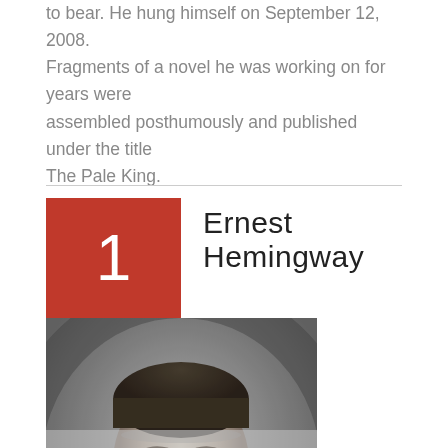to bear. He hung himself on September 12, 2008. Fragments of a novel he was working on for years were assembled posthumously and published under the title The Pale King.
1 Ernest Hemingway
[Figure (photo): Black and white portrait photograph of a young Ernest Hemingway in military uniform, looking directly at the camera.]